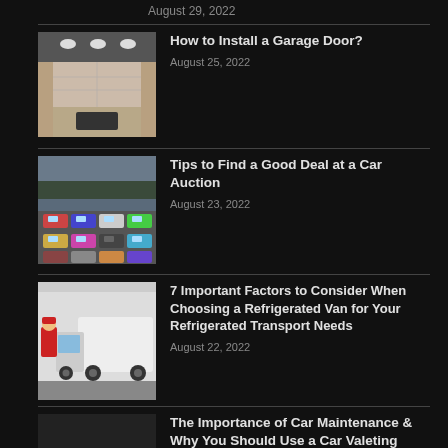August 29, 2022
How to Install a Garage Door? — August 25, 2022
Tips to Find a Good Deal at a Car Auction — August 23, 2022
7 Important Factors to Consider When Choosing a Refrigerated Van for Your Refrigerated Transport Needs — August 22, 2022
The Importance of Car Maintenance & Why You Should Use a Car Valeting Service — August 17, 2022